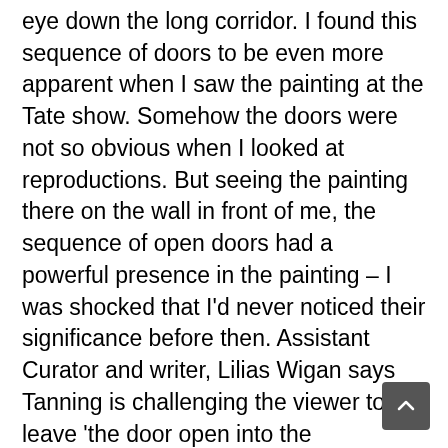eye down the long corridor. I found this sequence of doors to be even more apparent when I saw the painting at the Tate show. Somehow the doors were not so obvious when I looked at reproductions. But seeing the painting there on the wall in front of me, the sequence of open doors had a powerful presence in the painting – I was shocked that I'd never noticed their significance before then. Assistant Curator and writer, Lilias Wigan says Tanning is challenging the viewer to leave 'the door open into the imagination' (see Lilias Wigan, 'In Focus: Dorothea Tanning's 'Birthday', the paradoxical self-portrait that challenged